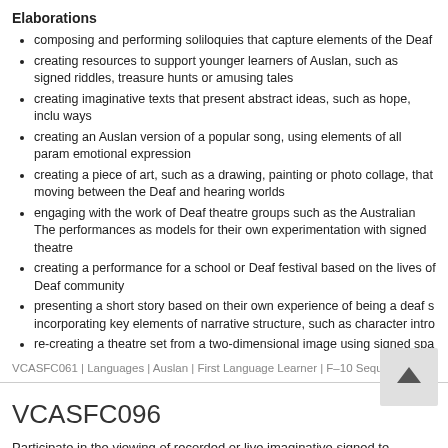Elaborations
composing and performing soliloquies that capture elements of the Deaf
creating resources to support younger learners of Auslan, such as signed riddles, treasure hunts or amusing tales
creating imaginative texts that present abstract ideas, such as hope, including ways
creating an Auslan version of a popular song, using elements of all param emotional expression
creating a piece of art, such as a drawing, painting or photo collage, that moving between the Deaf and hearing worlds
engaging with the work of Deaf theatre groups such as the Australian The performances as models for their own experimentation with signed theatre
creating a performance for a school or Deaf festival based on the lives of Deaf community
presenting a short story based on their own experience of being a deaf s incorporating key elements of narrative structure, such as character intro
re-creating a theatre set from a two-dimensional image using signed spa
VCASFC061 | Languages | Auslan | First Language Learner | F–10 Sequence | L
VCASFC096
Participate in the viewing of recorded or live imaginative signed te modelled signs